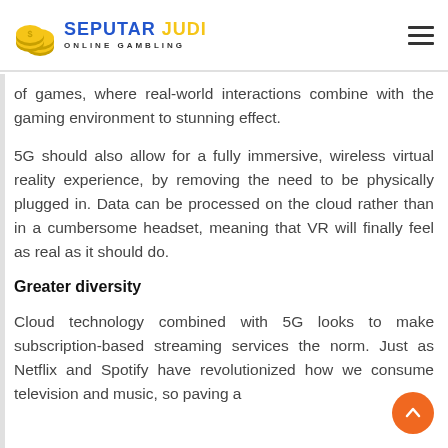SEPUTAR JUDI ONLINE GAMBLING
of games, where real-world interactions combine with the gaming environment to stunning effect.
5G should also allow for a fully immersive, wireless virtual reality experience, by removing the need to be physically plugged in. Data can be processed on the cloud rather than in a cumbersome headset, meaning that VR will finally feel as real as it should do.
Greater diversity
Cloud technology combined with 5G looks to make subscription-based streaming services the norm. Just as Netflix and Spotify have revolutionized how we consume television and music, so paving a